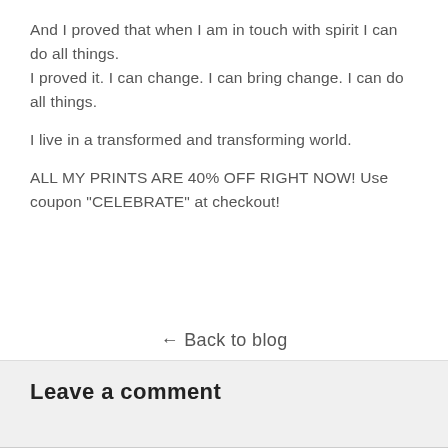And I proved that when I am in touch with spirit I can do all things.
I proved it. I can change. I can bring change. I can do all things.

I live in a transformed and transforming world.

ALL MY PRINTS ARE 40% OFF RIGHT NOW! Use coupon "CELEBRATE" at checkout!
← Back to blog
Leave a comment